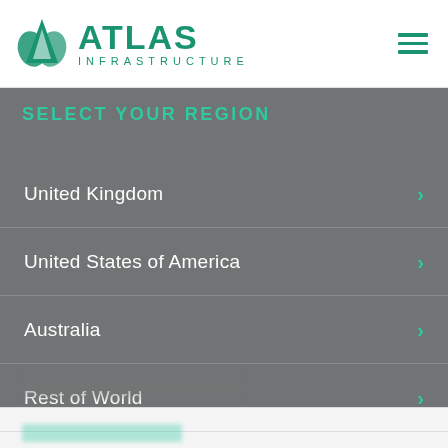[Figure (logo): Atlas Infrastructure logo with green triangle/mountain icon and teal wordmark reading ATLAS INFRASTRUCTURE]
SELECT YOUR REGION
United Kingdom
United States of America
Australia
Rest of World